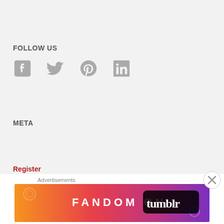FOLLOW US
[Figure (infographic): Social media icons: Facebook, Twitter, Pinterest, LinkedIn in gray]
META
Register
Log in
Entries feed
Advertisements
[Figure (illustration): Fandom on Tumblr advertisement banner with colorful gradient background from orange to purple]